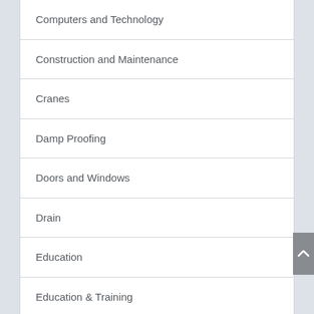Computers and Technology
Construction and Maintenance
Cranes
Damp Proofing
Doors and Windows
Drain
Education
Education & Training
Electrical Engineer